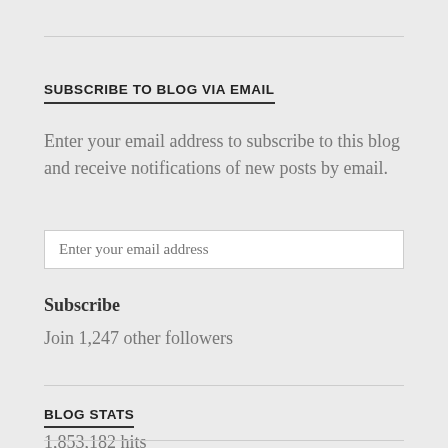SUBSCRIBE TO BLOG VIA EMAIL
Enter your email address to subscribe to this blog and receive notifications of new posts by email.
Enter your email address
Subscribe
Join 1,247 other followers
BLOG STATS
1,853,182 hits